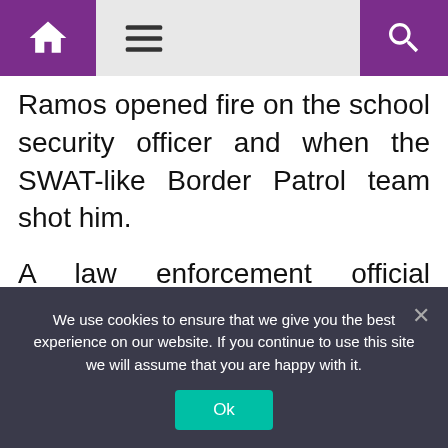Home | Menu | Search
Ramos opened fire on the school security officer and when the SWAT-like Border Patrol team shot him.
A law enforcement official familiar with the investigation said the Border Patrol agents had trouble breaching the classroom door and had to get a staff member to open the room with a key.
We use cookies to ensure that we give you the best experience on our website. If you continue to use this site we will assume that you are happy with it. Ok